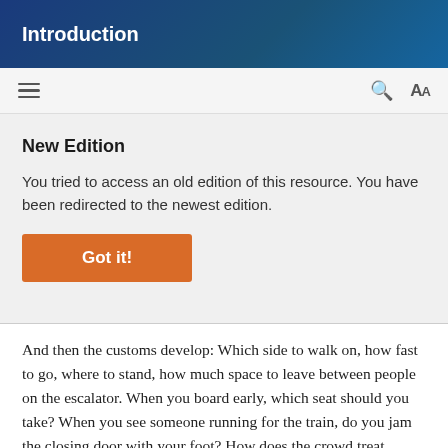Introduction
New Edition
You tried to access an old edition of this resource. You have been redirected to the newest edition.
Got it!
And then the customs develop: Which side to walk on, how fast to go, where to stand, how much space to leave between people on the escalator. When you board early, which seat should you take? When you see someone running for the train, do you jam the closing door with your foot? How does the crowd treat people who ask for food or money? What's the risk level in telling someone to be quiet?